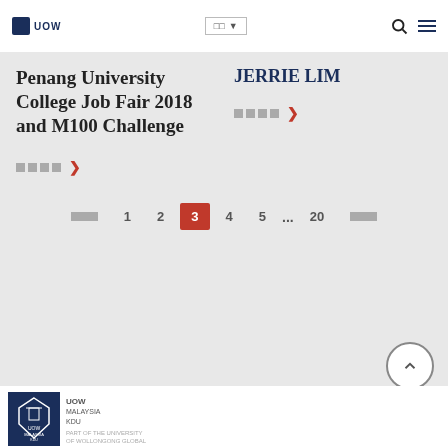UOW Malaysia KDU — navigation header with language selector, search, and menu icons
Penang University College Job Fair 2018 and M100 Challenge
JERRIE LIM
Read more →
Read more →
Pagination: Previous  1  2  3  4  5  ...  20  Next
[Figure (logo): UOW Malaysia KDU logo on dark navy background]
UOW Malaysia KDU footer with logo